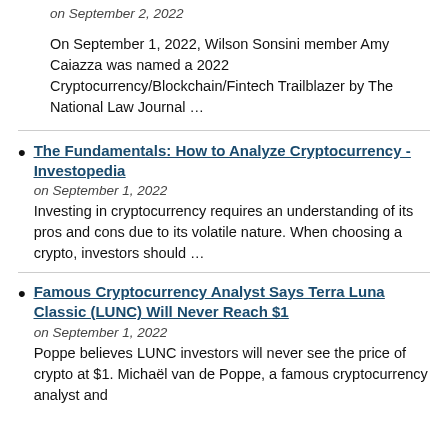on September 2, 2022
On September 1, 2022, Wilson Sonsini member Amy Caiazza was named a 2022 Cryptocurrency/Blockchain/Fintech Trailblazer by The National Law Journal …
The Fundamentals: How to Analyze Cryptocurrency - Investopedia
on September 1, 2022
Investing in cryptocurrency requires an understanding of its pros and cons due to its volatile nature. When choosing a crypto, investors should …
Famous Cryptocurrency Analyst Says Terra Luna Classic (LUNC) Will Never Reach $1
on September 1, 2022
Poppe believes LUNC investors will never see the price of crypto at $1. Michaël van de Poppe, a famous cryptocurrency analyst and